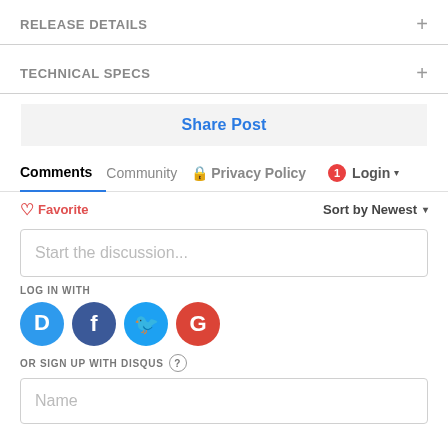RELEASE DETAILS
TECHNICAL SPECS
Share Post
Comments  Community  Privacy Policy  Login
♡ Favorite  Sort by Newest
Start the discussion...
LOG IN WITH
[Figure (other): Social login icons: Disqus (blue D), Facebook (dark blue f), Twitter (light blue bird), Google (red G)]
OR SIGN UP WITH DISQUS ?
Name